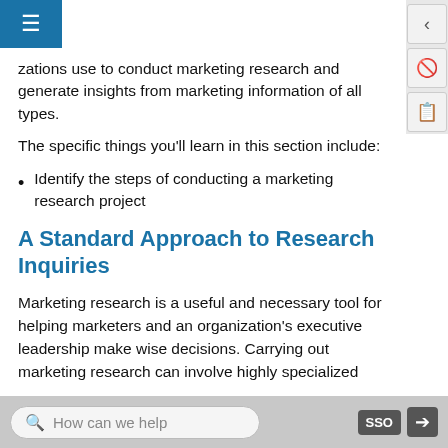zations use to conduct marketing research and generate insights from marketing information of all types.
The specific things you'll learn in this section include:
Identify the steps of conducting a marketing research project
A Standard Approach to Research Inquiries
Marketing research is a useful and necessary tool for helping marketers and an organization's executive leadership make wise decisions. Carrying out marketing research can involve highly specialized